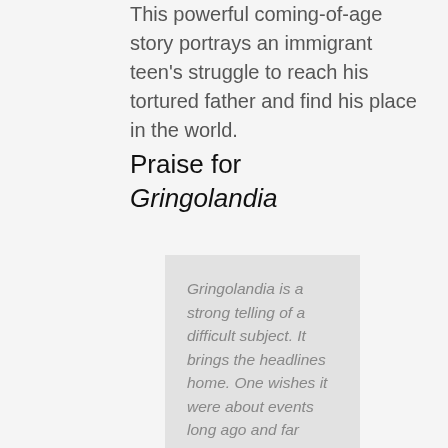This powerful coming-of-age story portrays an immigrant teen's struggle to reach his tortured father and find his place in the world.
Praise for Gringolandia
Gringolandia is a strong telling of a difficult subject. It brings the headlines home. One wishes it were about events long ago and far away,